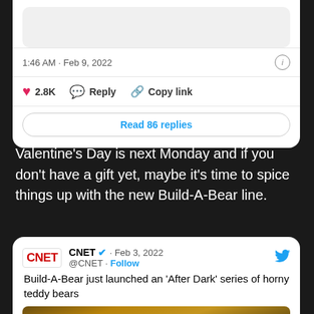1:46 AM · Feb 9, 2022
2.8K   Reply   Copy link
Read 86 replies
Valentine's Day is next Monday and if you don't have a gift yet, maybe it's time to spice things up with the new Build-A-Bear line.
[Figure (screenshot): Embedded tweet from CNET (@CNET), dated Feb 3, 2022, with CNET logo, verified badge, Follow button, Twitter bird icon. Tweet text: 'Build-A-Bear just launched an After Dark series of horny teddy bears'. Below is a partial image of a teddy bear.]